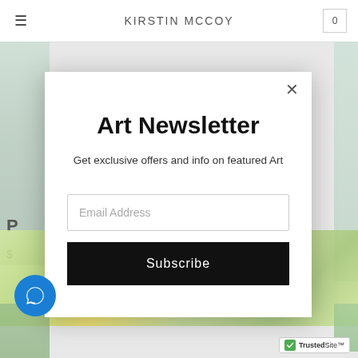KIRSTIN MCCOY
[Figure (screenshot): Website background showing colorful impressionist art images partially visible behind a modal overlay]
Art Newsletter
Get exclusive offers and info on featured Art
Email Address
Subscribe
[Figure (other): TrustedSite security badge in the bottom right corner]
[Figure (other): Blue circular chat bubble icon in the bottom left corner]